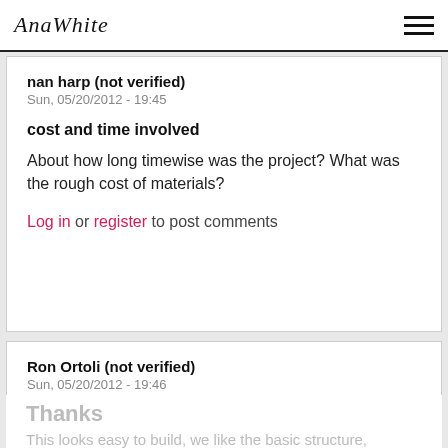AnaWhite
nan harp (not verified)
Sun, 05/20/2012 - 19:45
cost and time involved
About how long timewise was the project? What was the rough cost of materials?
Log in or register to post comments
Ron Ortoli (not verified)
Sun, 05/20/2012 - 19:46
Thanks
This looks easy to build, we like the basic structure,